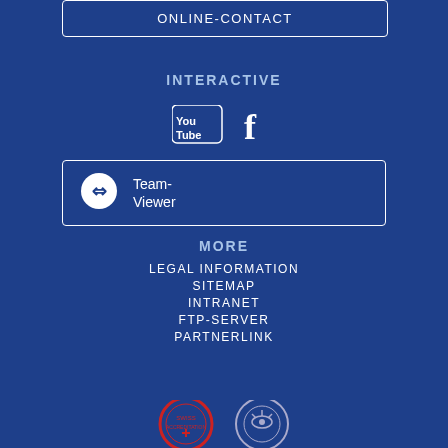ONLINE-CONTACT
INTERACTIVE
[Figure (logo): YouTube and Facebook social media icons]
Team-Viewer
MORE
LEGAL INFORMATION
SITEMAP
INTRANET
FTP-SERVER
PARTNERLINK
[Figure (logo): Swiss Accreditation and another accreditation badge logos]